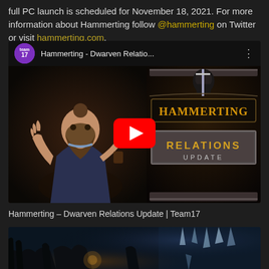full PC launch is scheduled for November 18, 2021. For more information about Hammerting follow @hammerting on Twitter or visit hammerting.com.
[Figure (screenshot): YouTube video embed showing Hammerting – Dwarven Relations Update video with Team17 channel icon, video title 'Hammerting - Dwarven Relatio...' and thumbnail showing a dwarf character on the left and the Hammerting game logo with 'Relations Update' text on the right, with a red YouTube play button overlay.]
Hammerting – Dwarven Relations Update | Team17
[Figure (screenshot): Dark cave/dungeon scene screenshot from Hammerting game showing underground cavern environment with dim lighting and atmospheric blue-toned stalagmites or crystals.]